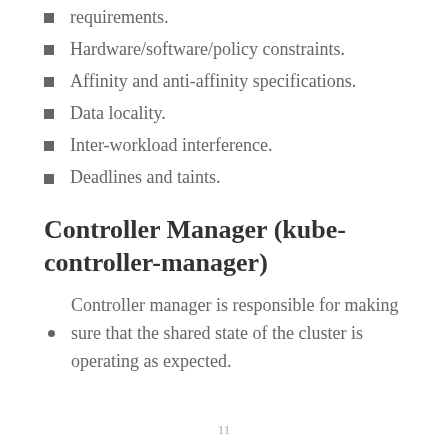requirements.
Hardware/software/policy constraints.
Affinity and anti-affinity specifications.
Data locality.
Inter-workload interference.
Deadlines and taints.
Controller Manager (kube-controller-manager)
Controller manager is responsible for making sure that the shared state of the cluster is operating as expected.
11